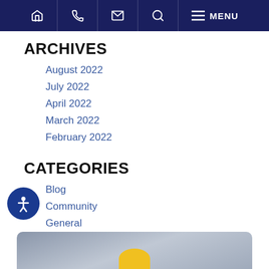Navigation bar with home, phone, email, search, and menu icons
ARCHIVES
August 2022
July 2022
April 2022
March 2022
February 2022
CATEGORIES
Blog
Community
General
Personal Injury
Social Security
Workers' Compensation
[Figure (photo): Bottom portion of page showing a partially visible image with a yellow circular element, likely a person or legal-related photo]